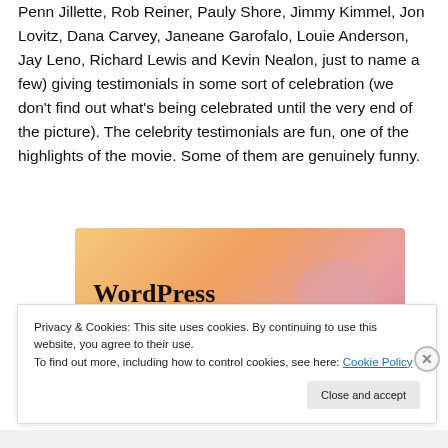Penn Jillette, Rob Reiner, Pauly Shore, Jimmy Kimmel, Jon Lovitz, Dana Carvey, Janeane Garofalo, Louie Anderson, Jay Leno, Richard Lewis and Kevin Nealon, just to name a few) giving testimonials in some sort of celebration (we don't find out what's being celebrated until the very end of the picture). The celebrity testimonials are fun, one of the highlights of the movie. Some of them are genuinely funny.
[Figure (illustration): WordPress advertisement banner with colorful orange-pink gradient background and bold text reading 'WordPress in the back.']
Privacy & Cookies: This site uses cookies. By continuing to use this website, you agree to their use.
To find out more, including how to control cookies, see here: Cookie Policy
Close and accept